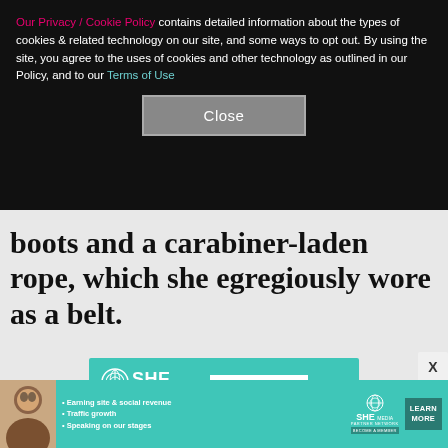Our Privacy / Cookie Policy contains detailed information about the types of cookies & related technology on our site, and some ways to opt out. By using the site, you agree to the uses of cookies and other technology as outlined in our Policy, and to our Terms of Use
Close
boots and a carabiner-laden rope, which she egregiously wore as a belt.
[Figure (infographic): SHE Media Partner Network advertisement showing 'BECOME A MEMBER' button, 'Earning site & social revenue' with dollar sign icon, and 'Traffic growth' with bar chart icon, on teal background]
[Figure (infographic): Bottom banner ad for SHE Media Partner Network showing a woman's photo, bullet points: Earning site & social revenue, Traffic growth, Speaking on our stages, SHE Media Partner Network logo, and LEARN MORE button]